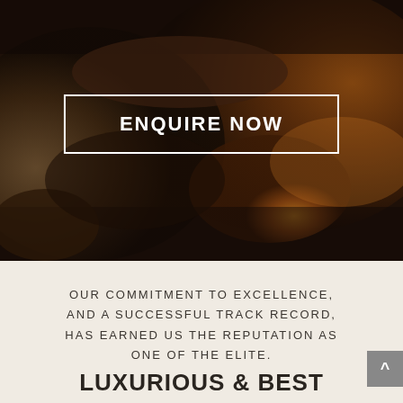[Figure (photo): Dark moody close-up photo of cooked/roasted meat with rich brown and amber colors]
ENQUIRE NOW
OUR COMMITMENT TO EXCELLENCE, AND A SUCCESSFUL TRACK RECORD, HAS EARNED US THE REPUTATION AS ONE OF THE ELITE
LUXURIOUS & BEST